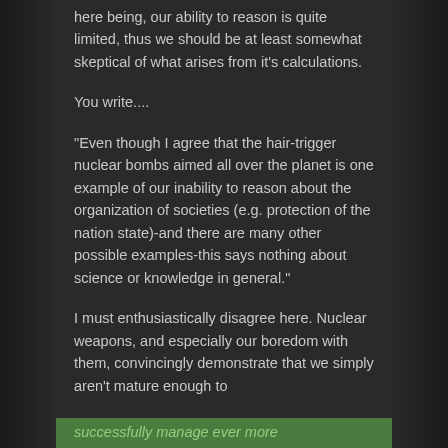here being, our ability to reason is quite limited, thus we should be at least somewhat skeptical of what arises from it's calculations.
You write….
“Even though I agree that the hair-trigger nuclear bombs aimed all over the planet is one example of our inability to reason about the organization of societies (e.g. protection of the nation state)-and there are many other possible examples-this says nothing about science or knowledge in general.”
I must enthusiastically disagree here. Nuclear weapons, and especially our boredom with them, convincingly demonstrate that we simply aren’t mature enough to
successfully manage ever more